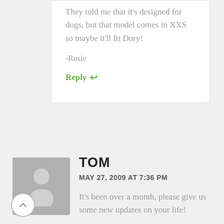They told me that it's designed for dogs, but that model comes in XXS so maybe it'll fit Dory!
-Rosie
Reply ↩
[Figure (illustration): Gray avatar placeholder showing a person silhouette]
TOM
MAY 27, 2009 AT 7:36 PM
It's been over a month, please give us some new updates on your life!